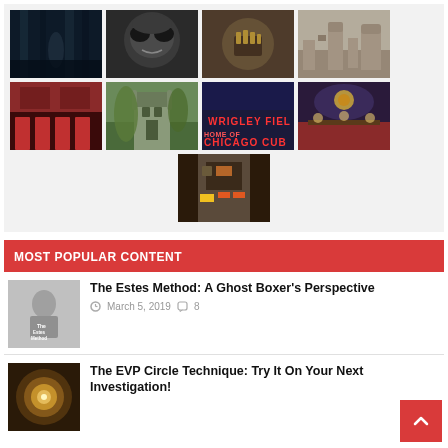[Figure (photo): Gallery of 9 thumbnail images in a grid: dark forest, alien face, skull with gold teeth, old city engraving, red bar interior, castle exterior, Wrigley Field sign, ornate theater interior, street scene with building]
MOST POPULAR CONTENT
[Figure (photo): Small thumbnail of a figure wearing a shirt labelled 'The Estes Method']
The Estes Method: A Ghost Boxer's Perspective
March 5, 2019  8
[Figure (photo): Thumbnail of a glowing golden circular pattern]
The EVP Circle Technique: Try It On Your Next Investigation!